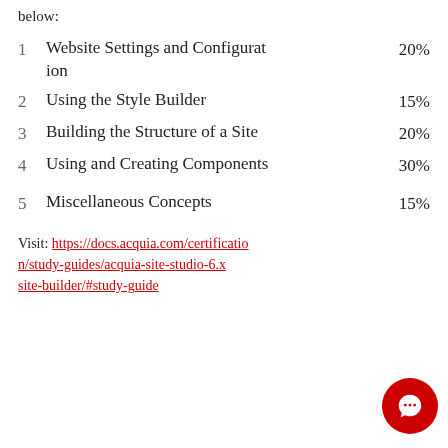below:
1  Website Settings and Configuration  20%
2  Using the Style Builder  15%
3  Building the Structure of a Site  20%
4  Using and Creating Components  30%
5  Miscellaneous Concepts  15%
Visit: https://docs.acquia.com/certification/study-guides/acquia-site-studio-6.x-site-builder/#study-guide